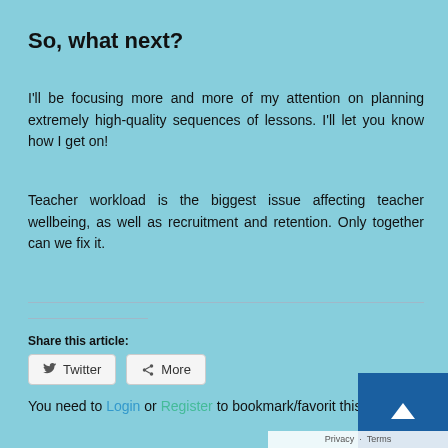So, what next?
I'll be focusing more and more of my attention on planning extremely high-quality sequences of lessons. I'll let you know how I get on!
Teacher workload is the biggest issue affecting teacher wellbeing, as well as recruitment and retention. Only together can we fix it.
Share this article:
Twitter  More
You need to Login or Register to bookmark/favorite this content.